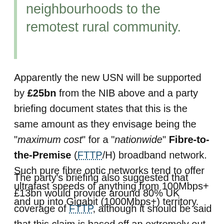neighbourhoods to the remotest rural community.
Apparently the new USN will be supported by £25bn from the NIB above and a party briefing document states that this is the same amount as they envisage being the "maximum cost" for a "nationwide" Fibre-to-the-Premise (FTTP/H) broadband network. Such pure fibre optic networks tend to offer ultrafast speeds of anything from 100Mbps+ and up into Gigabit (1000Mbps+) territory.
The party's briefing also suggested that £13bn would provide around 80% UK coverage of FTTP, although it should be said that this claim is based off an extremely out-of-date 2008 report from Analysis Mason ('The costs of deploying next-generation fibre optic infrastructure')